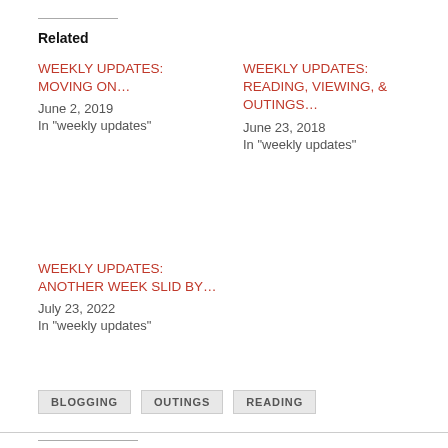Related
WEEKLY UPDATES: MOVING ON…
June 2, 2019
In "weekly updates"
WEEKLY UPDATES: READING, VIEWING, & OUTINGS…
June 23, 2018
In "weekly updates"
WEEKLY UPDATES: ANOTHER WEEK SLID BY…
July 23, 2022
In "weekly updates"
BLOGGING   OUTINGS   READING
PREVIOUS
COFFEE CHAT: MY LIFE THESE DAYS...